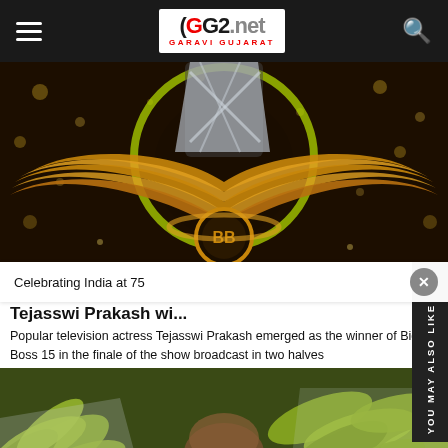GG2.net GARAVI GUJARAT
[Figure (photo): Tejasswi Prakash posing in front of the Bigg Boss 15 golden winged trophy/logo on a dark glittery background]
Tejasswi Prakash wi...
Popular television actress Tejasswi Prakash emerged as the winner of Bigg Boss 15 in the finale of the show broadcast in two halves
Celebrating India at 75
[Figure (photo): Close-up photo of bunches of green bananas/plantains at a market]